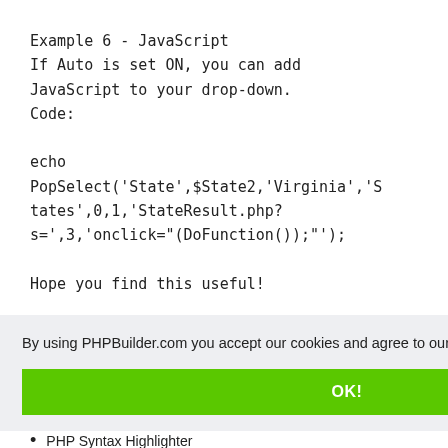Example 6 - JavaScript
If Auto is set ON, you can add JavaScript to your drop-down.
Code:

echo
PopSelect('State',$State2,'Virginia','States',0,1,'StateResult.php?s=',3,'onclick="(DoFunction());"');

Hope you find this useful!
By using PHPBuilder.com you accept our cookies and agree to our privacy policy.
OK!
PHP Syntax Highlighter